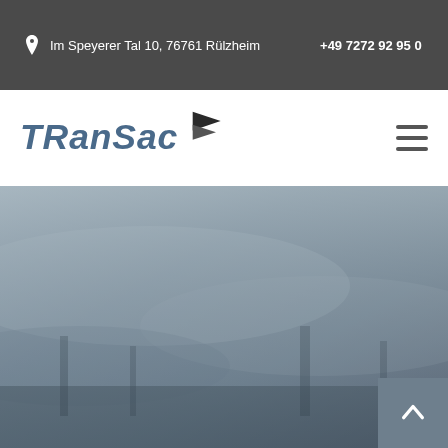Im Speyerer Tal 10, 76761 Rülzheim   +49 7272 92 95 0
[Figure (logo): TRANSAC company logo with stylized flag/chevron icon in dark color]
[Figure (photo): Gray hazy outdoor scene, possibly aerial or industrial environment, serving as hero/banner background image]
[Figure (other): Back to top button (upward chevron arrow) in gray square at bottom right]